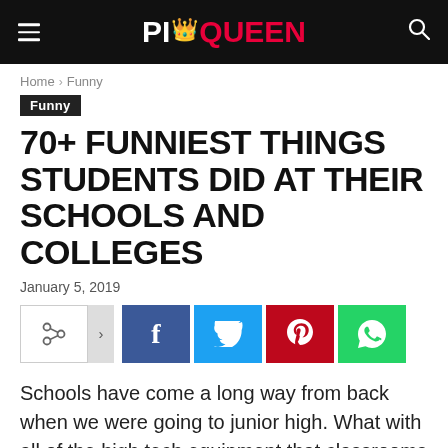PICQUEEN
Home › Funny
Funny
70+ FUNNIEST THINGS STUDENTS DID AT THEIR SCHOOLS AND COLLEGES
January 5, 2019
[Figure (infographic): Social share buttons row: share icon with arrow, Facebook (f), Twitter (bird), Pinterest (p), WhatsApp (phone) buttons]
Schools have come a long way from back when we were going to junior high. What with all of the high tech equipment that classrooms have at their disposal, the modern school system provides a much